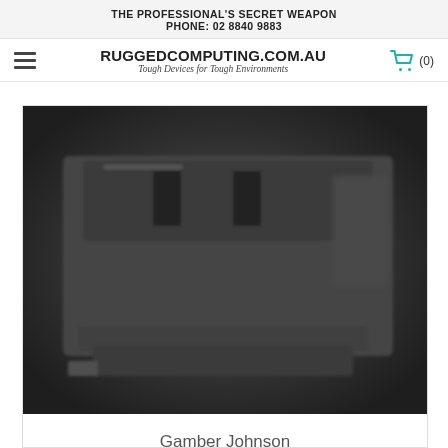THE PROFESSIONAL'S SECRET WEAPON
PHONE: 02 8840 9883
[Figure (logo): RuggedComputing.com.au logo with tagline 'Tough Devices for Tough Environments' and hamburger menu and cart icon]
[Figure (photo): Close-up blurred photo of a Gamber Johnson rugged mounting hardware device in dark grey/black color]
Gamber Johnson